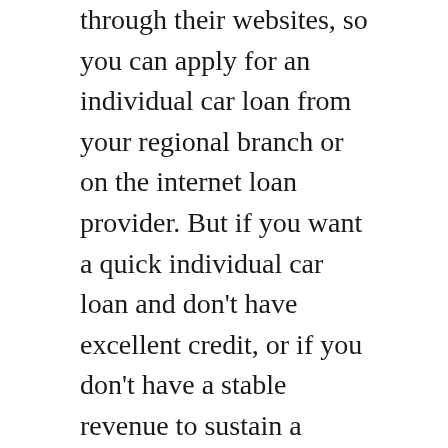through their websites, so you can apply for an individual car loan from your regional branch or on the internet loan provider. But if you want a quick individual car loan and don't have excellent credit, or if you don't have a stable revenue to sustain a lending repayment, you can apply for a cash advance from an on the internet lender. Lendly loan
Before you look for a personal funding, you should take into consideration two points: your monetary circumstance and your individual demands. Each lender will have a little various demands for its applicants. In general, all individual finance applications need the consumer to have a bank account with a